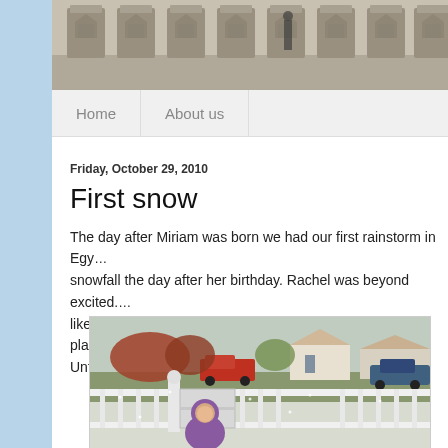[Figure (photo): Header photo showing decorative stone pillars/bollards in a row along a concrete walkway]
Home   About us
Friday, October 29, 2010
First snow
The day after Miriam was born we had our first rainstorm in Egy... snowfall the day after her birthday. Rachel was beyond excited... like...forever. It was a school day and she talked about her plan... Unfortunately, as you can see, the snow was a little scant.
[Figure (photo): A young girl in a purple hooded coat standing on a white-railed porch/deck in light snow, with houses, cars, and autumn trees visible in the background]